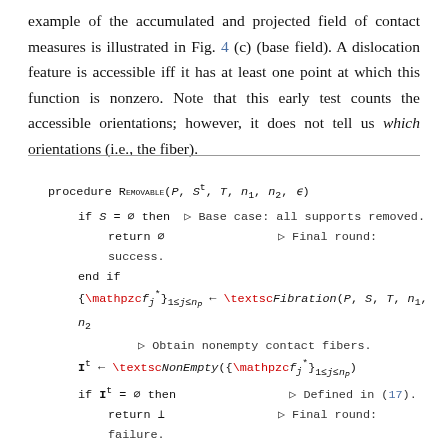example of the accumulated and projected field of contact measures is illustrated in Fig. 4 (c) (base field). A dislocation feature is accessible iff it has at least one point at which this function is nonzero. Note that this early test counts the accessible orientations; however, it does not tell us which orientations (i.e., the fiber).